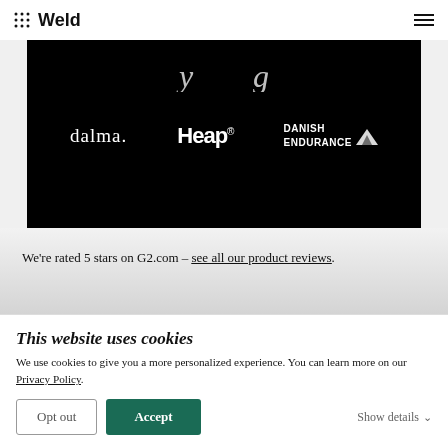Weld
[Figure (screenshot): Black banner showing company logos: dalma., Heap®, and DANISH ENDURANCE with partial logos above]
We're rated 5 stars on G2.com – see all our product reviews.
This website uses cookies
We use cookies to give you a more personalized experience. You can learn more on our Privacy Policy.
Opt out   Accept   Show details